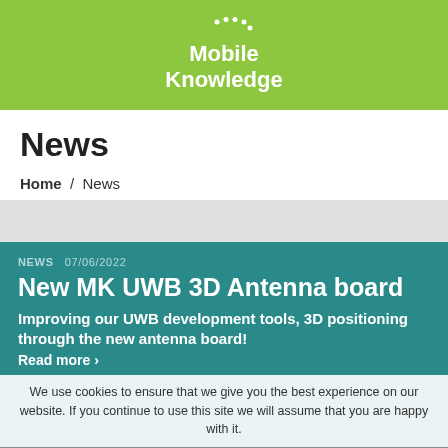[Figure (logo): Mobile Knowledge logo with white dots arc and white text on green background]
News
Home / News
NEWS   07/06/2022
New MK UWB 3D Antenna board
Improving our UWB development tools, 3D positioning through the new antenna board!
Read more ›
We use cookies to ensure that we give you the best experience on our website. If you continue to use this site we will assume that you are happy with it.
[Figure (photo): Antenna board PCB photo with two circuit boards and a button]
[Figure (logo): Google privacy / reCAPTCHA badge with shield icon and Privacy - Terms text]